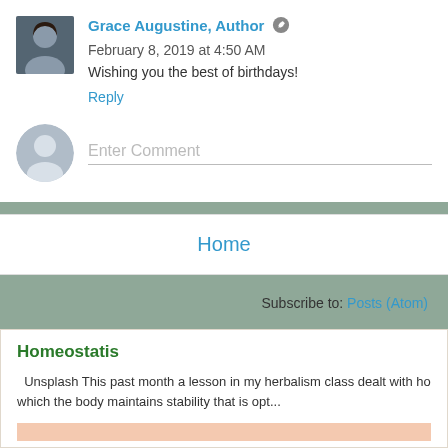Grace Augustine, Author  February 8, 2019 at 4:50 AM
Wishing you the best of birthdays!
Reply
Enter Comment
Home
Subscribe to: Posts (Atom)
Homeostatis
Unsplash This past month a lesson in my herbalism class dealt with ho which the body maintains stability that is opt...